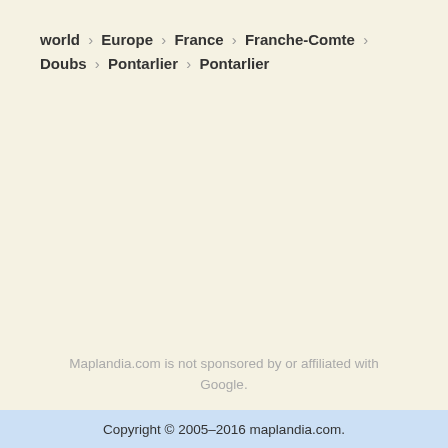world > Europe > France > Franche-Comte > Doubs > Pontarlier > Pontarlier
Maplandia.com is not sponsored by or affiliated with Google.
Copyright © 2005–2016 maplandia.com.